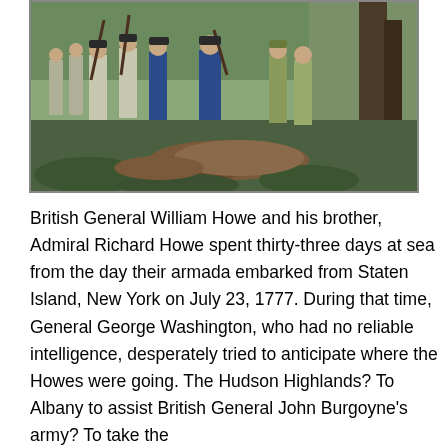[Figure (photo): A painting depicting a Revolutionary War battle scene with soldiers in blue and white uniforms fighting amid trees and fallen soldiers on the ground.]
British General William Howe and his brother, Admiral Richard Howe spent thirty-three days at sea from the day their armada embarked from Staten Island, New York on July 23, 1777. During that time, General George Washington, who had no reliable intelligence, desperately tried to anticipate where the Howes were going. The Hudson Highlands? To Albany to assist British General John Burgoyne's army? To take the